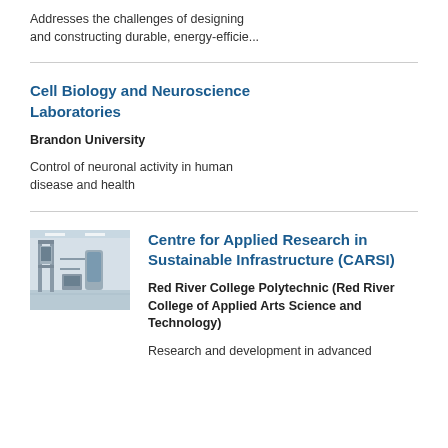Addresses the challenges of designing and constructing durable, energy-efficie...
Cell Biology and Neuroscience Laboratories
Brandon University
Control of neuronal activity in human disease and health
[Figure (photo): Laboratory interior with tall industrial equipment and machinery in a white room]
Centre for Applied Research in Sustainable Infrastructure (CARSI)
Red River College Polytechnic (Red River College of Applied Arts Science and Technology)
Research and development in advanced